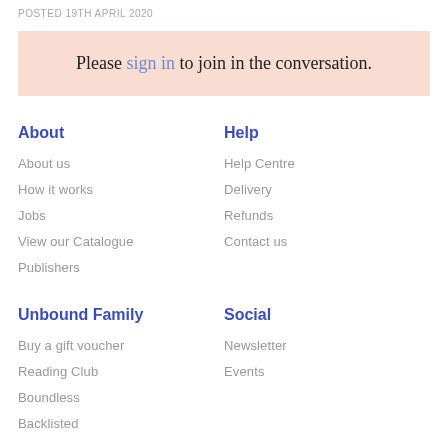POSTED 19TH APRIL 2020
Please sign in to join in the conversation.
About
About us
How it works
Jobs
View our Catalogue
Publishers
Help
Help Centre
Delivery
Refunds
Contact us
Unbound Family
Buy a gift voucher
Reading Club
Boundless
Backlisted
Social
Newsletter
Events